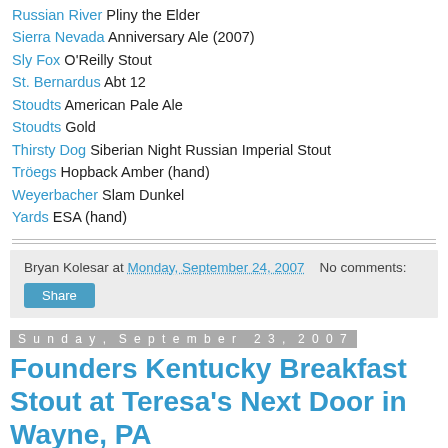Russian River Pliny the Elder
Sierra Nevada Anniversary Ale (2007)
Sly Fox O'Reilly Stout
St. Bernardus Abt 12
Stoudts American Pale Ale
Stoudts Gold
Thirsty Dog Siberian Night Russian Imperial Stout
Tröegs Hopback Amber (hand)
Weyerbacher Slam Dunkel
Yards ESA (hand)
Bryan Kolesar at Monday, September 24, 2007   No comments:
Share
Sunday, September 23, 2007
Founders Kentucky Breakfast Stout at Teresa's Next Door in Wayne, PA